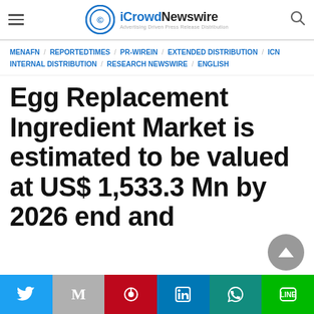iCrowdNewswire — Advertising Driven Press Release Distribution
MENAFN / REPORTEDTIMES / PR-WIREIN / EXTENDED DISTRIBUTION / ICN INTERNAL DISTRIBUTION / RESEARCH NEWSWIRE / ENGLISH
Egg Replacement Ingredient Market is estimated to be valued at US$ 1,533.3 Mn by 2026 end and